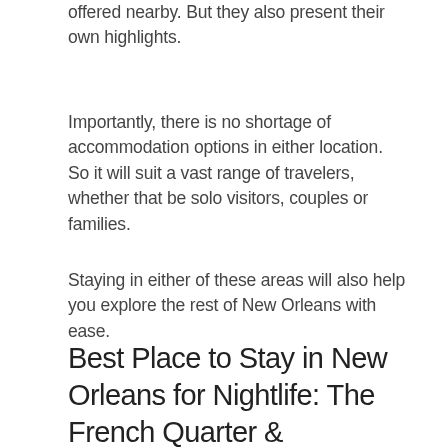offered nearby. But they also present their own highlights.
Importantly, there is no shortage of accommodation options in either location. So it will suit a vast range of travelers, whether that be solo visitors, couples or families.
Staying in either of these areas will also help you explore the rest of New Orleans with ease.
Best Place to Stay in New Orleans for Nightlife: The French Quarter & Faubourg Marigny
If you're one of the many traveling to New Orleans to let your hair down, then you already know you'll be staying near Bourbon Street.